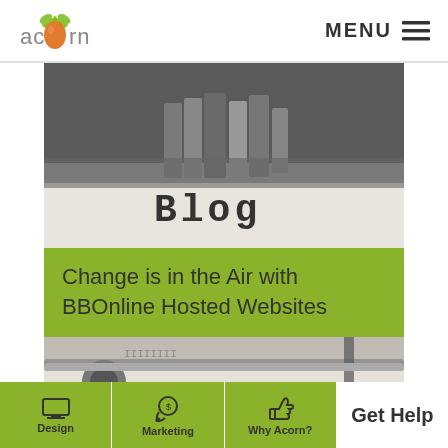[Figure (logo): Acorn logo - stylized acorn icon with 'acorn' text in grey]
[Figure (screenshot): Close-up photo of typewriter keys spelling 'Blog']
Change is in the Air with BBOnline Hosted Websites
[Figure (screenshot): Close-up photo of typewriter with 'Blog' text visible]
Design
Marketing
Why Acorn?
Get Help